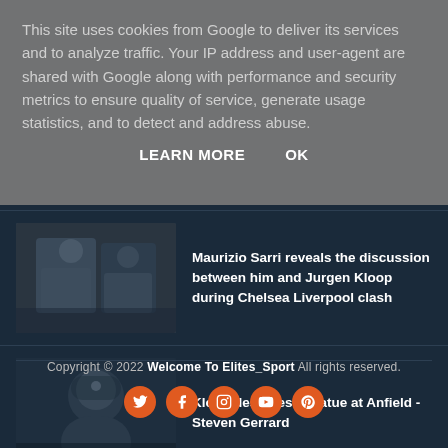This site uses cookies from Google to deliver its services and to analyze traffic. Your IP address and user-agent are shared with Google along with performance and security metrics to ensure quality of service, generate usage statistics, and to detect and address abuse.
LEARN MORE   OK
Maurizio Sarri reveals the discussion between him and Jurgen Kloop during Chelsea Liverpool clash
Klopp deserves a statue at Anfield - Steven Gerrard
Copyright © 2022 Welcome To Elites_Sport All rights reserved.